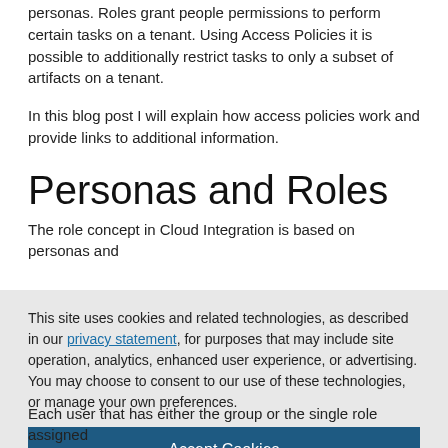personas. Roles grant people permissions to perform certain tasks on a tenant. Using Access Policies it is possible to additionally restrict tasks to only a subset of artifacts on a tenant.
In this blog post I will explain how access policies work and provide links to additional information.
Personas and Roles
The role concept in Cloud Integration is based on personas and
This site uses cookies and related technologies, as described in our privacy statement, for purposes that may include site operation, analytics, enhanced user experience, or advertising. You may choose to consent to our use of these technologies, or manage your own preferences.
Accept Cookies
More Information
Privacy Policy | Powered by: TrustArc
Each user that has either the group or the single role assigned